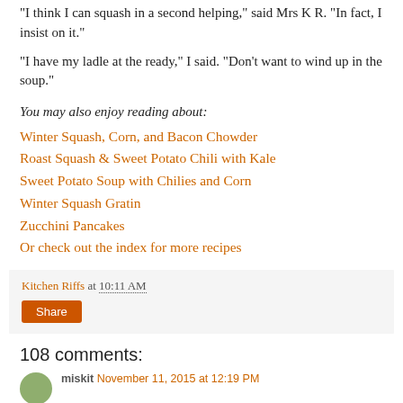“I think I can squash in a second helping,” said Mrs K R. “In fact, I insist on it.”
“I have my ladle at the ready,” I said. “Don’t want to wind up in the soup.”
You may also enjoy reading about:
Winter Squash, Corn, and Bacon Chowder
Roast Squash & Sweet Potato Chili with Kale
Sweet Potato Soup with Chilies and Corn
Winter Squash Gratin
Zucchini Pancakes
Or check out the index for more recipes
Kitchen Riffs at 10:11 AM
Share
108 comments:
miskit November 11, 2015 at 12:19 PM